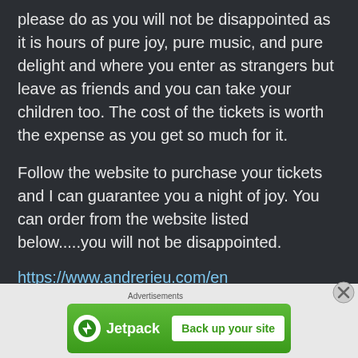please do as you will not be disappointed as it is hours of pure joy, pure music, and pure delight and where you enter as strangers but leave as friends and you can take your children too. The cost of the tickets is worth the expense as you get so much for it.
Follow the website to purchase your tickets and I can guarantee you a night of joy. You can order from the website listed below.....you will not be disappointed.
https://www.andrerieu.com/en
Disclaimer: At not point have I asked for nor have I received payment for this blog. The tickets were
[Figure (screenshot): Jetpack advertisement banner with logo and 'Back up your site' button on a green gradient background]